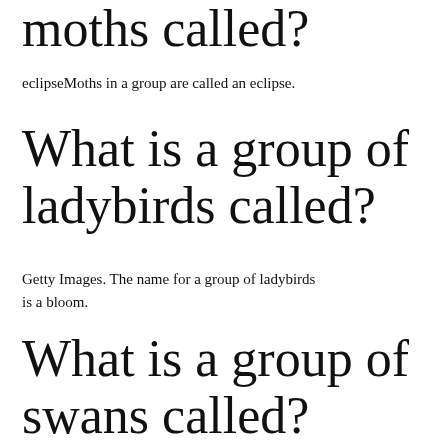moths called?
eclipseMoths in a group are called an eclipse.
What is a group of ladybirds called?
Getty Images. The name for a group of ladybirds is a bloom.
What is a group of swans called?